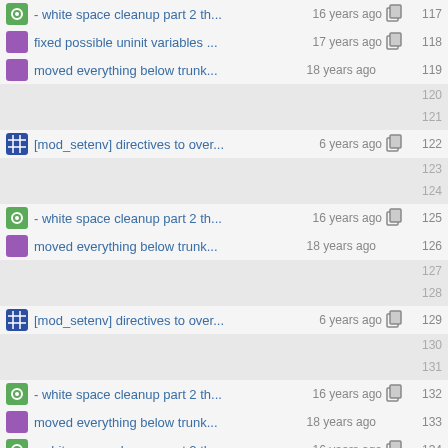- white space cleanup part 2 th... 16 years ago  117
fixed possible uninit variables ... 17 years ago  118
moved everything below trunk... 18 years ago  119
(gap) 120
(gap) 121
[mod_setenv] directives to over... 6 years ago  122
(gap) 123
(gap) 124
- white space cleanup part 2 th... 16 years ago  125
moved everything below trunk... 18 years ago  126
(gap) 127
(gap) 128
[mod_setenv] directives to over... 6 years ago  129
(gap) 130
(gap) 131
- white space cleanup part 2 th... 16 years ago  132
moved everything below trunk... 18 years ago  133
- white space cleanup part 2 th... 16 years ago  134
[config] check config option sco... 7 years ago  135
moved everything below trunk... 18 years ago  136
(gap) 137